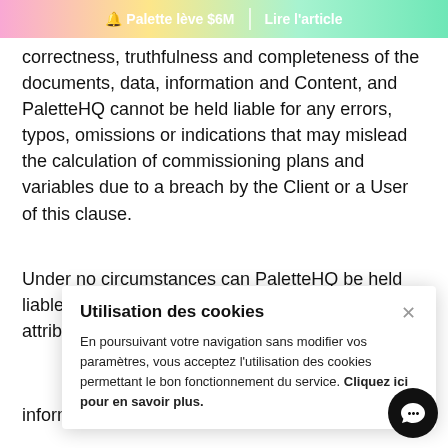🔔 Palette lève $6M | Lire l'article
correctness, truthfulness and completeness of the documents, data, information and Content, and PaletteHQ cannot be held liable for any errors, typos, omissions or indications that may mislead the calculation of commissioning plans and variables due to a breach by the Client or a User of this clause.
Under no circumstances can PaletteHQ be held liable if the calculations are wrong due to an error attributable to the C...
1:... up th... ne... information shall be provided to them.
Utilisation des cookies
En poursuivant votre navigation sans modifier vos paramètres, vous acceptez l'utilisation des cookies permettant le bon fonctionnement du service. Cliquez ici pour en savoir plus.